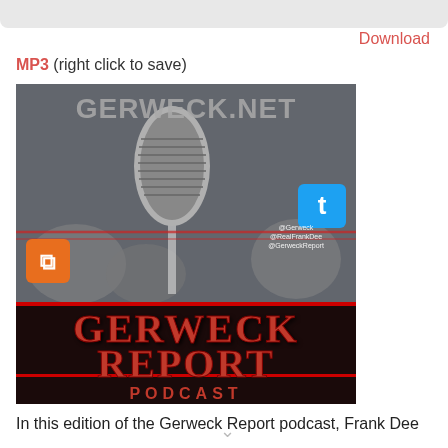Download
MP3 (right click to save)
[Figure (illustration): Gerweck Report Podcast cover art showing a vintage microphone on a crowd background with GERWECK.NET text at top, Twitter and RSS icons, and GERWECK REPORT PODCAST logo at bottom in red metallic text on black banner]
In this edition of the Gerweck Report podcast, Frank Dee